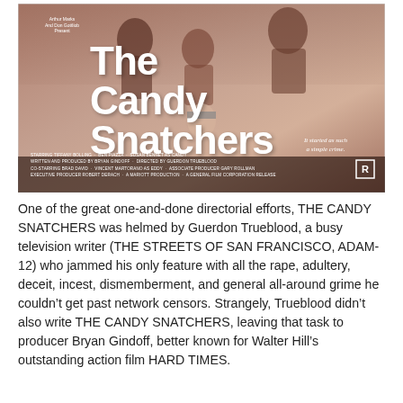[Figure (photo): Movie poster for 'The Candy Snatchers'. Sepia/brownish toned poster showing figures in a struggle. Text reads: Arthur Marks And Don Gottlieb Present. Large title 'The Candy Snatchers'. Tagline 'It started as such a simple crime.' Credits at bottom: STARRING TIFFANY BOLLING · BEN PIAZZA · SUSAN BENNET AS CANDY. WRITTEN AND PRODUCED BY BRYAN GINDOFF · DIRECTED BY GUERDON TRUEBLOOD. CO-STARRING BRAD DAVID · VINCENT MARTORANO AS EDDY · ASSOCIATE PRODUCER GARY ROLLMAN. EXECUTIVE PRODUCER ROBERT DERACH · A MARIOTT PRODUCTION · A GENERAL FILM CORPORATION RELEASE. R rating box in lower right.]
One of the great one-and-done directorial efforts, THE CANDY SNATCHERS was helmed by Guerdon Trueblood, a busy television writer (THE STREETS OF SAN FRANCISCO, ADAM-12) who jammed his only feature with all the rape, adultery, deceit, incest, dismemberment, and general all-around grime he couldn't get past network censors. Strangely, Trueblood didn't also write THE CANDY SNATCHERS, leaving that task to producer Bryan Gindoff, better known for Walter Hill's outstanding action film HARD TIMES.